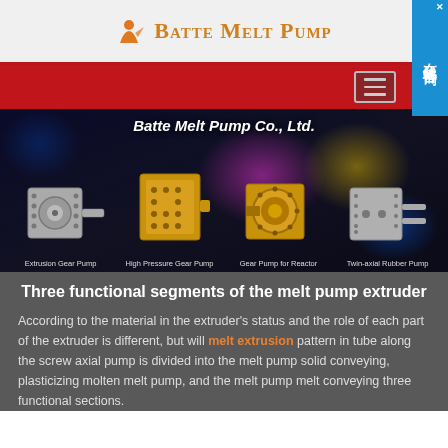[Figure (logo): Batte Melt Pump company logo with orange person icon and company name in orange/brown serif font]
[Figure (screenshot): Red navigation bar with hamburger menu icon on right, and a blue Chinese online consultation badge on far right]
[Figure (photo): Banner showing four melt pump products (Extrusion Gear Pump, High Pressure Gear Pump, Gear Pump for Reactor, Twin-axial Rubber Pump) against dark background with colorful light effects, with company name 'Batte Melt Pump Co., Ltd.' in italic bold white text]
Three functional segments of the melt pump extruder
According to the material in the extruder's status and the role of each part of the extruder is different, but will melt extrusion pattern in tube along the screw axial pump is divided into the melt pump solid conveying, plasticizing molten melt pump, and the melt pump melt conveying three functional sections.